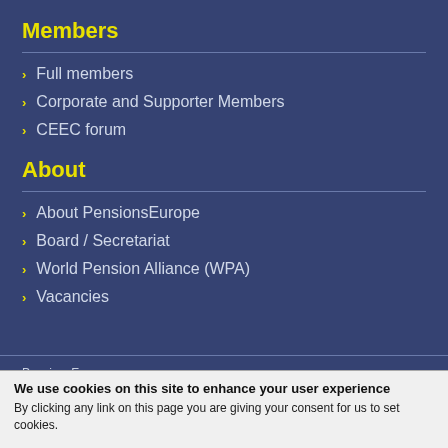Members
Full members
Corporate and Supporter Members
CEEC forum
About
About PensionsEurope
Board / Secretariat
World Pension Alliance (WPA)
Vacancies
PensionsEurope
© 1998 - 2022
We use cookies on this site to enhance your user experience
By clicking any link on this page you are giving your consent for us to set cookies.